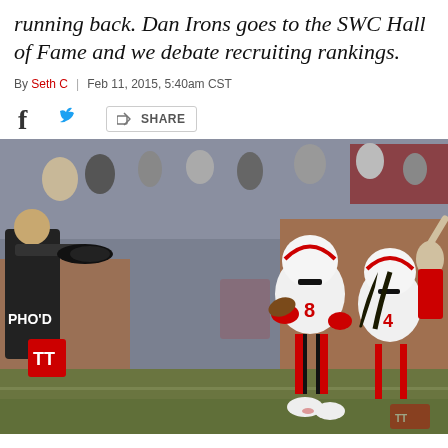running back. Dan Irons goes to the SWC Hall of Fame and we debate recruiting rankings.
By Seth C  |  Feb 11, 2015, 5:40am CST
[Figure (photo): Texas Tech football players in white uniforms with red accents, number 8 carrying a football in the end zone, photographed on sideline with cameras and spectators visible in background]